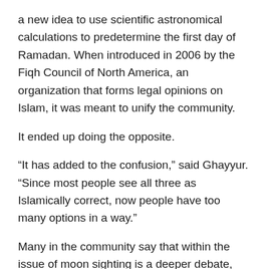a new idea to use scientific astronomical calculations to predetermine the first day of Ramadan. When introduced in 2006 by the Fiqh Council of North America, an organization that forms legal opinions on Islam, it was meant to unify the community.
It ended up doing the opposite.
“It has added to the confusion,” said Ghayyur. “Since most people see all three as Islamically correct, now people have too many options in a way.”
Many in the community say that within the issue of moon sighting is a deeper debate, one between those trying to find ways to modernize Islamic traditions within the bounds of Islam, and those struggling to hold fast to tradition.